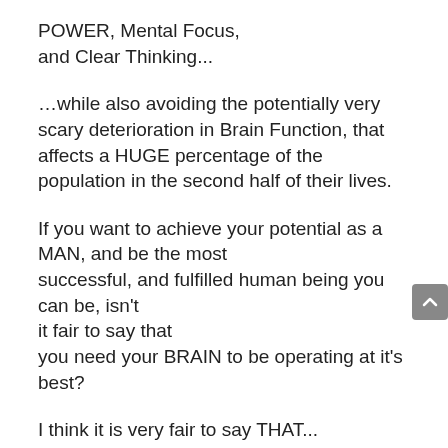POWER, Mental Focus, and Clear Thinking...
…while also avoiding the potentially very scary deterioration in Brain Function, that affects a HUGE percentage of the population in the second half of their lives.
If you want to achieve your potential as a MAN, and be the most successful, and fulfilled human being you can be, isn't it fair to say that you need your BRAIN to be operating at it's best?
I think it is very fair to say THAT...